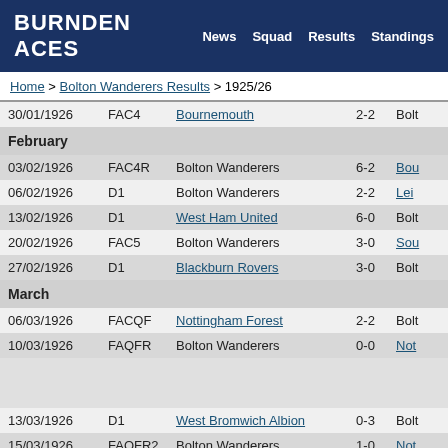BURNDEN ACES  News  Squad  Results  Standings
Home > Bolton Wanderers Results > 1925/26
| Date | Comp | Team | Score | Opponent |
| --- | --- | --- | --- | --- |
| 30/01/1926 | FAC4 | Bournemouth | 2-2 | Bolt |
| February |  |  |  |  |
| 03/02/1926 | FAC4R | Bolton Wanderers | 6-2 | Bou |
| 06/02/1926 | D1 | Bolton Wanderers | 2-2 | Lei |
| 13/02/1926 | D1 | West Ham United | 6-0 | Bolt |
| 20/02/1926 | FAC5 | Bolton Wanderers | 3-0 | Sou |
| 27/02/1926 | D1 | Blackburn Rovers | 3-0 | Bolt |
| March |  |  |  |  |
| 06/03/1926 | FACQF | Nottingham Forest | 2-2 | Bolt |
| 10/03/1926 | FAQFR | Bolton Wanderers | 0-0 | Not |
| 13/03/1926 | D1 | West Bromwich Albion | 0-3 | Bolt |
| 15/03/1926 | FAQFR2 | Bolton Wanderers | 1-0 | Not |